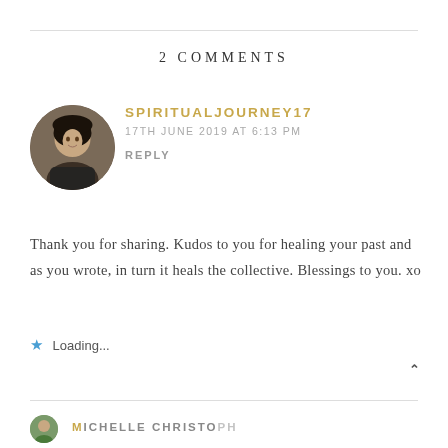2 COMMENTS
[Figure (photo): Circular avatar photo of a woman with dark hair against an outdoor background]
SPIRITUALJOURNEY17
17TH JUNE 2019 AT 6:13 PM
REPLY
Thank you for sharing. Kudos to you for healing your past and as you wrote, in turn it heals the collective. Blessings to you. xo
Loading...
[Figure (other): Partial circular avatar and partial truncated username at bottom of page]